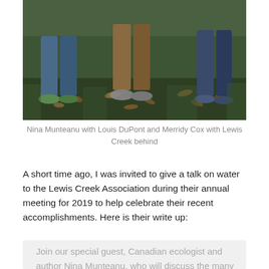[Figure (photo): Outdoor photo showing legs and feet of people standing on grass covered with fallen autumn leaves. The lower portion of three people is visible, wearing jeans and casual shoes/sneakers. Green grass and brown leaves are visible on the ground.]
Nina Munteanu with Louis DuPont and Merridy Cox with Lewis Creek behind
A short time ago, I was invited to give a talk on water to the Lewis Creek Association during their annual meeting for 2019 to help celebrate their recent accomplishments. Here is their write up:
Join our special guest, Canadian ecologist and author Nina Munteanu, who will discuss the many dimensions of water. She describes personally the curiosity and